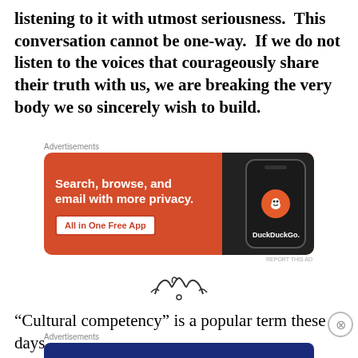listening to it with utmost seriousness.  This conversation cannot be one-way.  If we do not listen to the voices that courageously share their truth with us, we are breaking the very body we so sincerely wish to build.
[Figure (illustration): DuckDuckGo advertisement: orange background with phone mockup showing DuckDuckGo logo. Text: 'Search, browse, and email with more privacy. All in One Free App']
[Figure (illustration): Decorative ornamental swirl/flourish divider]
“Cultural competency” is a popular term these days,
[Figure (illustration): Day One journaling app advertisement: dark blue background with app icons and text 'The only journaling app you'll ever need.']